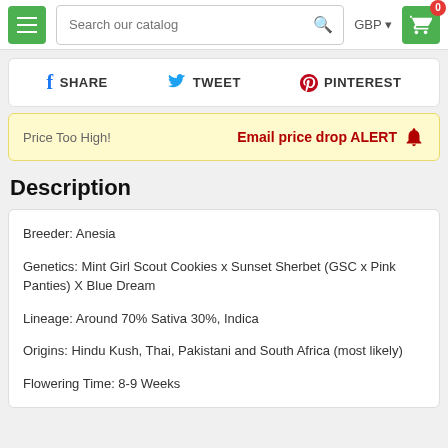Search our catalog | GBP | Cart (0)
SHARE  TWEET  PINTEREST
Price Too High!  Email price drop ALERT 🔔
Description
Breeder: Anesia
Genetics: Mint Girl Scout Cookies x Sunset Sherbet (GSC x Pink Panties) X Blue Dream
Lineage: Around 70% Sativa 30%, Indica
Origins: Hindu Kush, Thai, Pakistani and South Africa (most likely)
Flowering Time: 8-9 Weeks